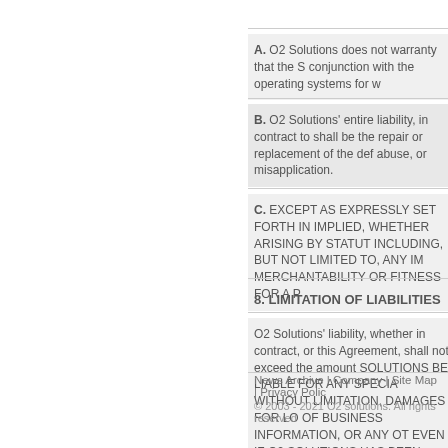A. O2 Solutions does not warranty that the S conjunction with the operating systems for w
B. O2 Solutions' entire liability, in contract to shall be the repair or replacement of the def abuse, or misapplication.
C. EXCEPT AS EXPRESSLY SET FORTH IN IMPLIED, WHETHER ARISING BY STATUT INCLUDING, BUT NOT LIMITED TO, ANY IM MERCHANTABILITY OR FITNESS FOR A P
8. LIMITATION OF LIABILITIES
O2 Solutions' liability, whether in contract, or this Agreement, shall not exceed the amount SOLUTIONS BE LIABLE FOR ANY SPECIA WITHOUT LIMITATION, DAMAGES FOR LO OF BUSINESS INFORMATION, OR ANY OT EVEN IF O2 SOLUTIONS HAS BEEN ADVIS
News Archive | Company | Site Map | Privacy Polic © 2003 - 2021 O2 solutions. All rights reserved